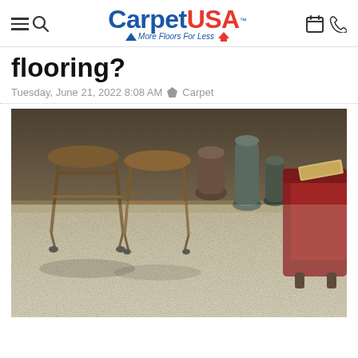CarpetUSA — More Floors For Less
flooring?
Tuesday, June 21, 2022 8:08 AM  Carpet
[Figure (photo): Interior room scene with beige/cream carpet flooring, featuring metal and wood bar stools, dark pottery vases, and a dark red leather sofa with dark wood legs. The focus is on the texture of the light-colored carpet.]